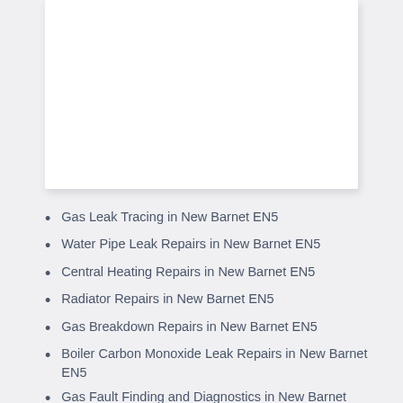Gas Leak Tracing in New Barnet EN5
Water Pipe Leak Repairs in New Barnet EN5
Central Heating Repairs in New Barnet EN5
Radiator Repairs in New Barnet EN5
Gas Breakdown Repairs in New Barnet EN5
Boiler Carbon Monoxide Leak Repairs in New Barnet EN5
Gas Fault Finding and Diagnostics in New Barnet EN5